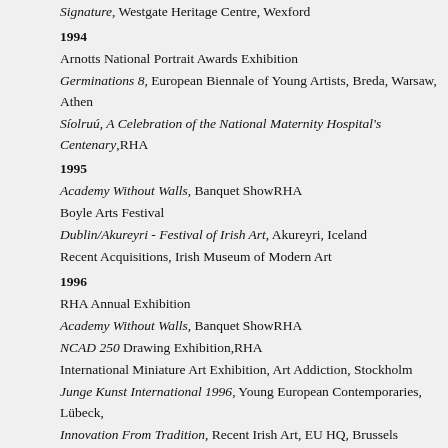Signature, Westgate Heritage Centre, Wexford
1994
Arnotts National Portrait Awards Exhibition
Germinations 8, European Biennale of Young Artists, Breda, Warsaw, Athens
Síolruú, A Celebration of the National Maternity Hospital's Centenary, RHA
1995
Academy Without Walls, Banquet ShowRHA
Boyle Arts Festival
Dublin/Akureyri - Festival of Irish Art, Akureyri, Iceland
Recent Acquisitions, Irish Museum of Modern Art
1996
RHA Annual Exhibition
Academy Without Walls, Banquet ShowRHA
NCAD 250 Drawing Exhibition, RHA
International Miniature Art Exhibition, Art Addiction, Stockholm
Junge Kunst International 1996, Young European Contemporaries, Lübeck,
Innovation From Tradition, Recent Irish Art, EU HQ, Brussels
AIB On Tour, Model Arts Centre, Sligo
1997
Figurative Image, West Cork Arts Centre